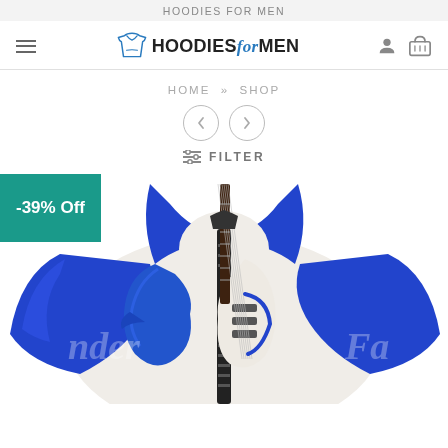HOODIES FOR MEN
[Figure (logo): Hoodies for Men logo with hoodie icon and stylized text]
HOME » SHOP
[Figure (other): Pagination arrows: left and right circle buttons]
≡ FILTER
-39% Off
[Figure (photo): Blue and white hoodie with guitar graphic design on a mannequin, showing partial view]